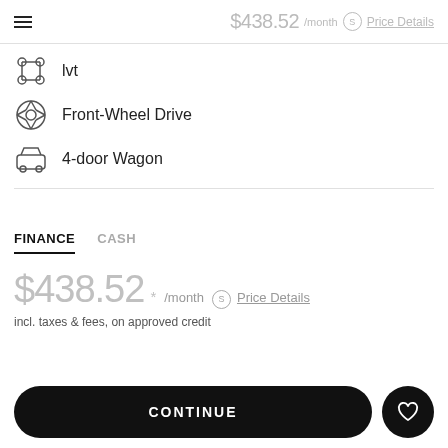$438.52 /month  Price Details
lvt
Front-Wheel Drive
4-door Wagon
FINANCE   CASH
$438.52* /month  Price Details
incl. taxes & fees, on approved credit
CONTINUE